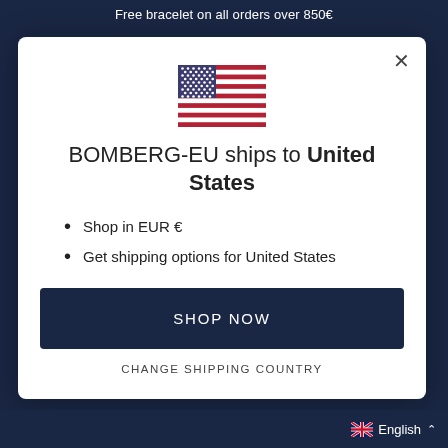Free bracelet on all orders over 850€
[Figure (illustration): US flag emoji/icon]
BOMBERG-EU ships to United States
Shop in EUR €
Get shipping options for United States
SHOP NOW
CHANGE SHIPPING COUNTRY
English